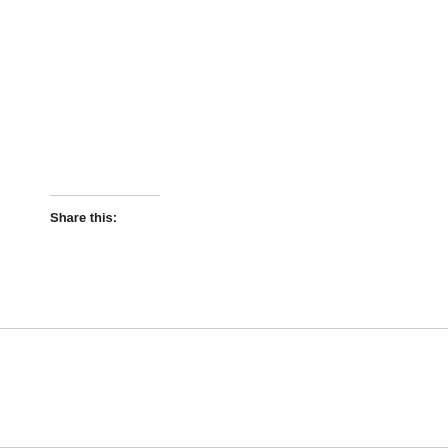Share this:
Share
Two Major Adoption Conferences This Weekend